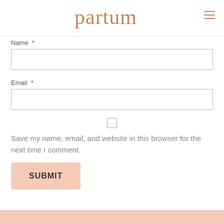partum
Name *
Email *
Save my name, email, and website in this browser for the next time I comment.
SUBMIT